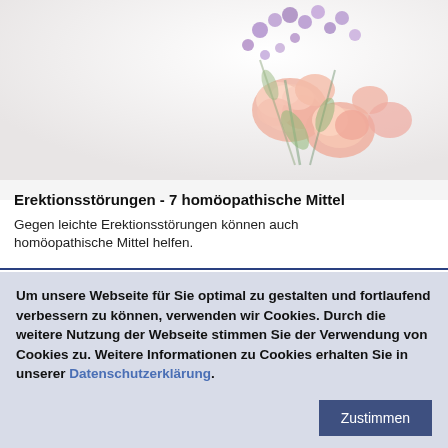[Figure (photo): Bouquet of pink and purple flowers on white/light grey background]
Erektionsstörungen - 7 homöopathische Mittel
Gegen leichte Erektionsstörungen können auch homöopathische Mittel helfen.
Um unsere Webseite für Sie optimal zu gestalten und fortlaufend verbessern zu können, verwenden wir Cookies. Durch die weitere Nutzung der Webseite stimmen Sie der Verwendung von Cookies zu. Weitere Informationen zu Cookies erhalten Sie in unserer Datenschutzerklärung.
Zustimmen